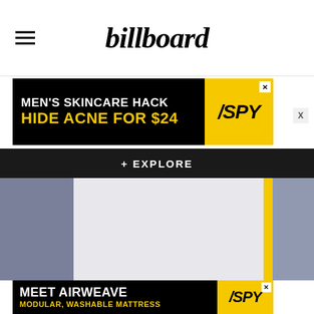billboard
[Figure (screenshot): Advertisement banner: MEN'S SKINCARE HACK / HIDE ACNE FOR $24 with SPY logo on yellow background]
+ EXPLORE
[Figure (photo): Main content image area with gray and light gray blocks and yellow vertical bar]
[Figure (screenshot): Advertisement banner: MEET AIRWEAVE / MODULAR, WASHABLE MATTRESS with SPY logo on yellow background]